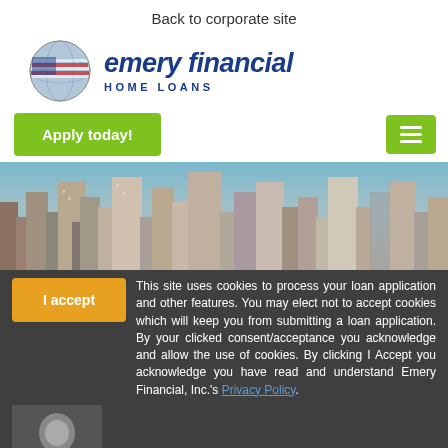Back to corporate site
[Figure (logo): Emery Financial Home Loans logo with globe icon featuring American flag and company name in dark blue italic text]
Apply today!
[Figure (photo): Aerial cityscape photo showing tall skyscrapers and urban buildings]
I accept
This site uses cookies to process your loan application and other features. You may elect not to accept cookies which will keep you from submitting a loan application. By your clicked consent/acceptance you acknowledge and allow the use of cookies. By clicking I Accept you acknowledge you have read and understand Emery Financial, Inc.'s Privacy Policy.